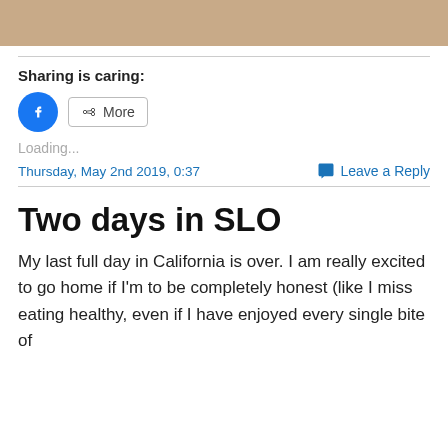[Figure (photo): Top banner image with sandy/tan color, partial photo cropped at top]
Sharing is caring:
[Figure (infographic): Facebook share button (blue circle with white f icon) and More share button (grey rounded rectangle with share icon)]
Loading...
Thursday, May 2nd 2019, 0:37    Leave a Reply
Two days in SLO
My last full day in California is over. I am really excited to go home if I'm to be completely honest (like I miss eating healthy, even if I have enjoyed every single bite of